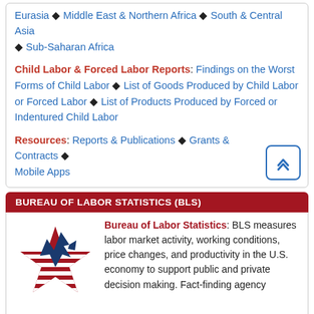Eurasia ♦ Middle East & Northern Africa ♦ South & Central Asia ♦ Sub-Saharan Africa
Child Labor & Forced Labor Reports: Findings on the Worst Forms of Child Labor ♦ List of Goods Produced by Child Labor or Forced Labor ♦ List of Products Produced by Forced or Indentured Child Labor
Resources: Reports & Publications ♦ Grants & Contracts ♦ Mobile Apps
BUREAU OF LABOR STATISTICS (BLS)
[Figure (logo): Bureau of Labor Statistics logo — a red and white striped star with a blue lightning bolt/arrow graphic on top]
Bureau of Labor Statistics: BLS measures labor market activity, working conditions, price changes, and productivity in the U.S. economy to support public and private decision making. Fact-finding agency for the Federal Government in the field of labor economics and statistics. Collects, processes, analyzes, and disseminates